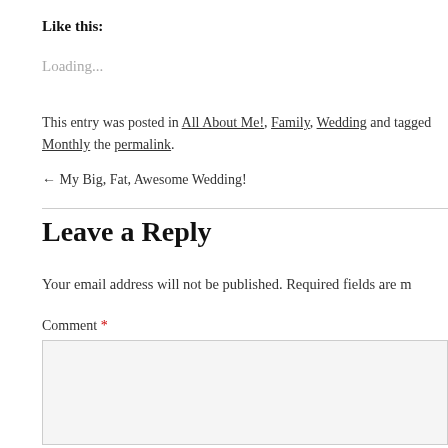Like this:
Loading...
This entry was posted in All About Me!, Family, Wedding and tagged Monthly the permalink.
← My Big, Fat, Awesome Wedding!
Leave a Reply
Your email address will not be published. Required fields are m
Comment *